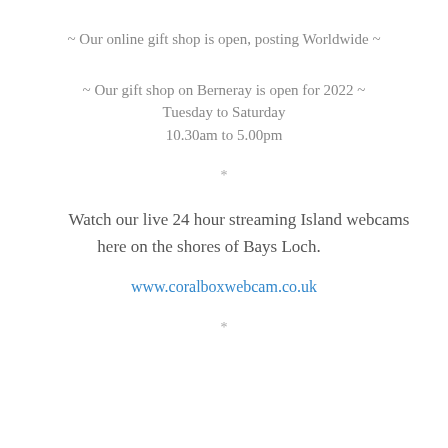~ Our online gift shop is open, posting Worldwide ~
~ Our gift shop on Berneray is open for 2022 ~
Tuesday to Saturday
10.30am to 5.00pm
*
Watch our live 24 hour streaming Island webcams here on the shores of Bays Loch.
www.coralboxwebcam.co.uk
*